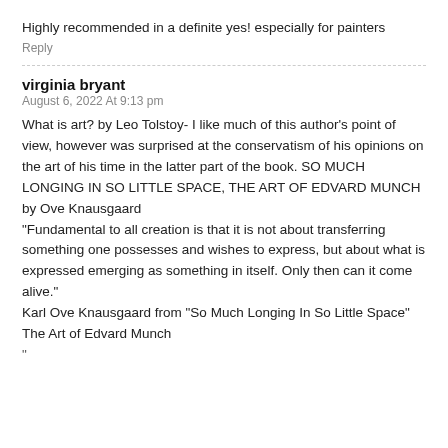Highly recommended in a definite yes! especially for painters
Reply
virginia bryant
August 6, 2022 At 9:13 pm
What is art? by Leo Tolstoy- I like much of this author's point of view, however was surprised at the conservatism of his opinions on the art of his time in the latter part of the book. SO MUCH LONGING IN SO LITTLE SPACE, THE ART OF EDVARD MUNCH by Ove Knausgaard
"Fundamental to all creation is that it is not about transferring something one possesses and wishes to express, but about what is expressed emerging as something in itself. Only then can it come alive."
Karl Ove Knausgaard from "So Much Longing In So Little Space"
The Art of Edvard Munch